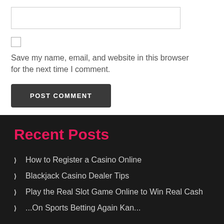[Figure (other): Empty text input field with border]
[Figure (other): Checkbox (unchecked)]
Save my name, email, and website in this browser for the next time I comment.
[Figure (other): POST COMMENT button]
Recent Posts
How to Register a Casino Online
Blackjack Casino Dealer Tips
Play the Real Slot Game Online to Win Real Cash
...On Sports Betting Again Kan...